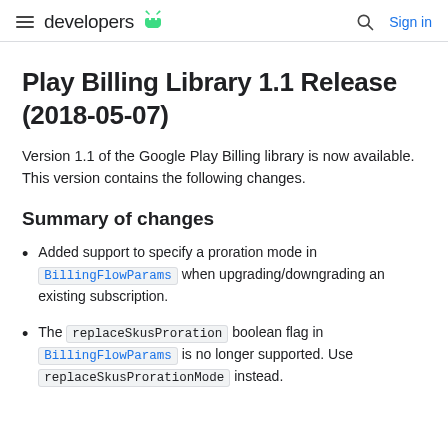developers  [Android logo]  [search icon]  Sign in
Play Billing Library 1.1 Release (2018-05-07)
Version 1.1 of the Google Play Billing library is now available. This version contains the following changes.
Summary of changes
Added support to specify a proration mode in BillingFlowParams when upgrading/downgrading an existing subscription.
The replaceSkusProration boolean flag in BillingFlowParams is no longer supported. Use replaceSkusProrationMode instead.